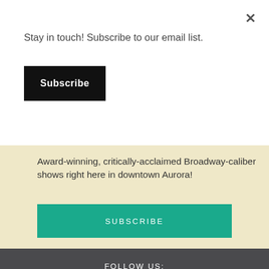Stay in touch! Subscribe to our email list.
Subscribe
Award-winning, critically-acclaimed Broadway-caliber shows right here in downtown Aurora!
SUBSCRIBE
FOLLOW US:
[Figure (infographic): Social media icons: Facebook, YouTube, Twitter, Instagram]
#paramountschool
QUESTIONS ABOUT THE SCHOOL?